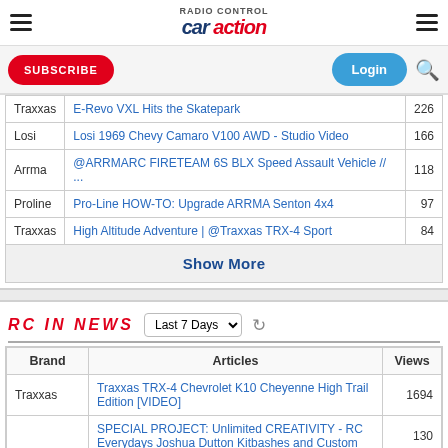RC Car Action - Header navigation with hamburger menu, logo, Subscribe button, Login button, and search icon
| Brand | Articles | Views |
| --- | --- | --- |
| Traxxas | E-Revo VXL Hits the Skatepark | 226 |
| Losi | Losi 1969 Chevy Camaro V100 AWD - Studio Video | 166 |
| Arrma | @ARRMARC FIRETEAM 6S BLX Speed Assault Vehicle // ... | 118 |
| Proline | Pro-Line HOW-TO: Upgrade ARRMA Senton 4x4 | 97 |
| Traxxas | High Altitude Adventure | @Traxxas TRX-4 Sport | 84 |
Show More
RC IN NEWS
| Brand | Articles | Views |
| --- | --- | --- |
| Traxxas | Traxxas TRX-4 Chevrolet K10 Cheyenne High Trail Edition [VIDEO] | 1694 |
|  | SPECIAL PROJECT: Unlimited CREATIVITY - RC Everydays Joshua Dutton Kitbashes and Custom | 130 |